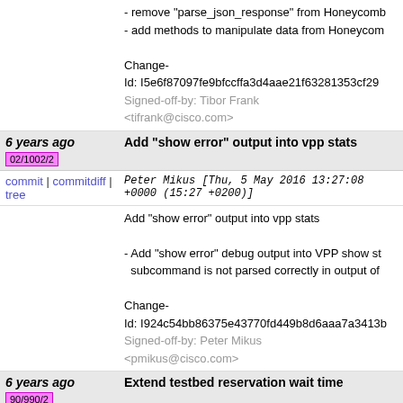- remove "parse_json_response" from Honeycomb
- add methods to manipulate data from Honeycomb

Change-Id: I5e6f87097fe9bfccffa3d4aae21f63281353cf29
Signed-off-by: Tibor Frank <tifrank@cisco.com>
6 years ago  Add "show error" output into vpp stats  02/1002/2
commit | commitdiff | tree   Peter Mikus [Thu, 5 May 2016 13:27:08 +0000 (15:27 +0200)]
Add "show error" output into vpp stats

- Add "show error" debug output into VPP show stats subcommand is not parsed correctly in output of

Change-Id: I924c54bb86375e43770fd449b8d6aaa7a3413b
Signed-off-by: Peter Mikus <pmikus@cisco.com>
6 years ago  Extend testbed reservation wait time  90/990/2
commit | commitdiff | tree   Miroslav Miklus [Wed, 4 May 2016 15:07:53 +0000 (17:07 +0200)]
Extend testbed reservation wait time